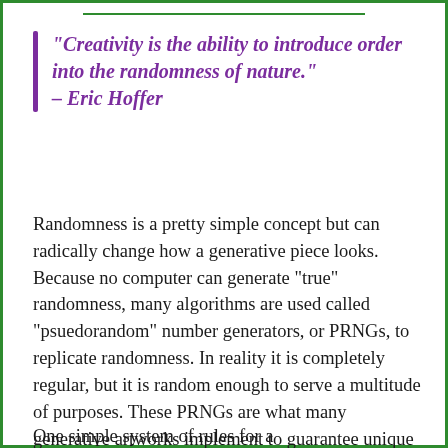"Creativity is the ability to introduce order into the randomness of nature." – Eric Hoffer
Randomness is a pretty simple concept but can radically change how a generative piece looks. Because no computer can generate "true" randomness, many algorithms are used called "psuedorandom" number generators, or PRNGs, to replicate randomness. In reality it is completely regular, but it is random enough to serve a multitude of purposes. These PRNGs are what many generative artworks implement to guarantee unique designs every regeneration.
One simple system of rules for a